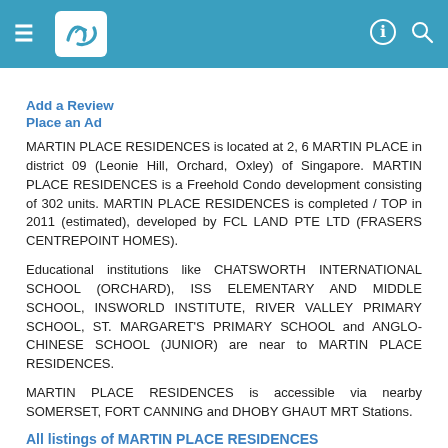Navigation header with logo and icons
Add a Review
Place an Ad
MARTIN PLACE RESIDENCES is located at 2, 6 MARTIN PLACE in district 09 (Leonie Hill, Orchard, Oxley) of Singapore. MARTIN PLACE RESIDENCES is a Freehold Condo development consisting of 302 units. MARTIN PLACE RESIDENCES is completed / TOP in 2011 (estimated), developed by FCL LAND PTE LTD (FRASERS CENTREPOINT HOMES).
Educational institutions like CHATSWORTH INTERNATIONAL SCHOOL (ORCHARD), ISS ELEMENTARY AND MIDDLE SCHOOL, INSWORLD INSTITUTE, RIVER VALLEY PRIMARY SCHOOL, ST. MARGARET'S PRIMARY SCHOOL and ANGLO-CHINESE SCHOOL (JUNIOR) are near to MARTIN PLACE RESIDENCES.
MARTIN PLACE RESIDENCES is accessible via nearby SOMERSET, FORT CANNING and DHOBY GHAUT MRT Stations.
All listings of MARTIN PLACE RESIDENCES